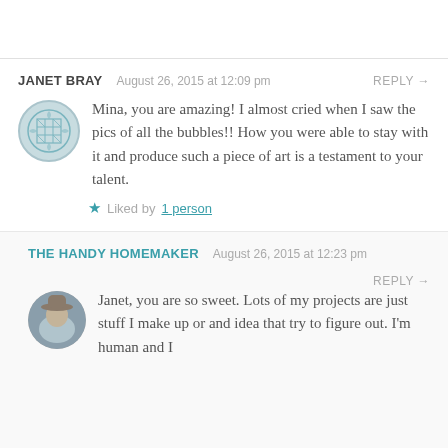JANET BRAY  August 26, 2015 at 12:09 pm  REPLY →
Mina, you are amazing! I almost cried when I saw the pics of all the bubbles!! How you were able to stay with it and produce such a piece of art is a testament to your talent.
★ Liked by 1 person
THE HANDY HOMEMAKER  August 26, 2015 at 12:23 pm  REPLY →
Janet, you are so sweet. Lots of my projects are just stuff I make up or and idea that try to figure out. I'm human and I